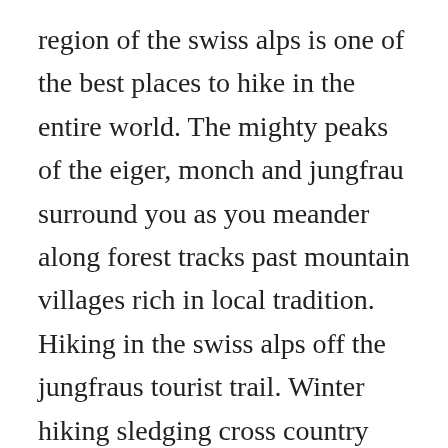region of the swiss alps is one of the best places to hike in the entire world. The mighty peaks of the eiger, monch and jungfrau surround you as you meander along forest tracks past mountain villages rich in local tradition. Hiking in the swiss alps off the jungfraus tourist trail. Winter hiking sledging cross country skiing boating theme worlds museum public swimming paragliding tennis gorges waterfasll minigolf indoor climbing snow. The trail is primarily used for hiking, walking, nature trips, and backpacking and is best used for viewing until they d...